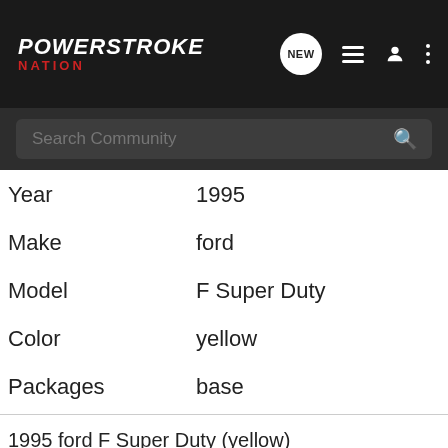Power Stroke Nation
| Field | Value |
| --- | --- |
| Year | 1995 |
| Make | ford |
| Model | F Super Duty |
| Color | yellow |
| Packages | base |
1995 ford F Super Duty (yellow)
[Figure (other): Warning/info icon button]
Gallery